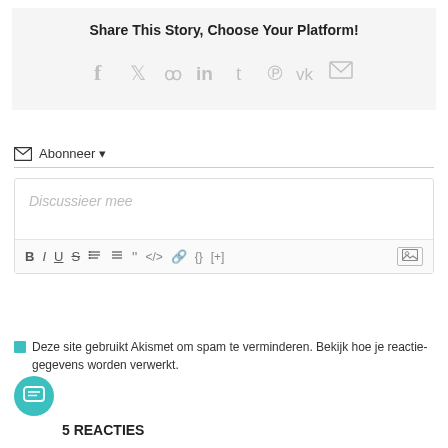Share This Story, Choose Your Platform!
[Figure (infographic): Social media share icons: Facebook, Twitter, Reddit, LinkedIn, Tumblr, Pinterest, VK, Email]
✉ Abonneer ▼
[Figure (screenshot): Comment text area with placeholder 'Discussieer mee' and formatting toolbar with B I U S list quote code link and image buttons]
Deze site gebruikt Akismet om spam te verminderen. Bekijk hoe je reactie-gegevens worden verwerkt.
5 REACTIES